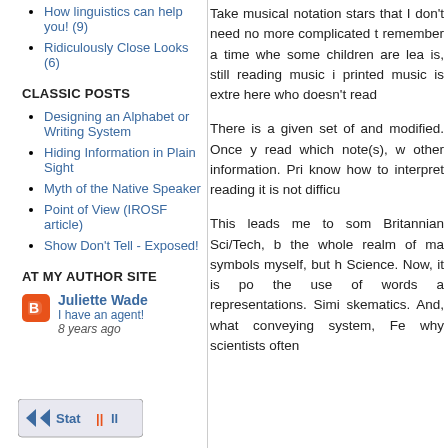How linguistics can help you! (9)
Ridiculously Close Looks (6)
CLASSIC POSTS
Designing an Alphabet or Writing System
Hiding Information in Plain Sight
Myth of the Native Speaker
Point of View (IROSF article)
Show Don't Tell - Exposed!
AT MY AUTHOR SITE
Juliette Wade
I have an agent!
8 years ago
Take musical notation stars that I don't need no more complicated t remember a time whe some children are lea is, still reading music i printed music is extre here who doesn't read
There is a given set of and modified. Once y read which note(s), w other information. Pri know how to interpret reading it is not difficu
This leads me to som Britannian Sci/Tech, b the whole realm of ma symbols myself, but h Science. Now, it is po the use of words a representations. Sim skematics. And, what conveying system, Fe why scientists often